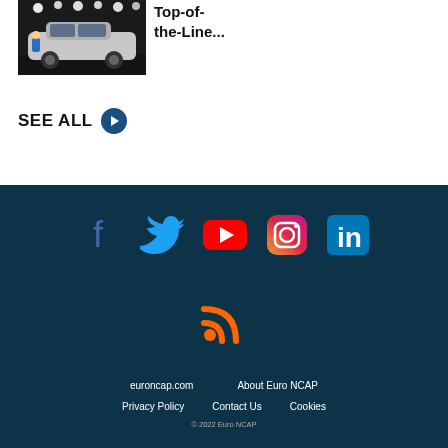[Figure (photo): Car crash test photo showing vehicle under bright lights]
Top-of-the-Line...
SEE ALL ❯
[Figure (infographic): Social media icons: Facebook, Twitter, YouTube, Instagram, LinkedIn, RSS feed]
euroncap.com | About Euro NCAP | Privacy Policy | Contact Us | Cookies | © 2022 Euro NCAP